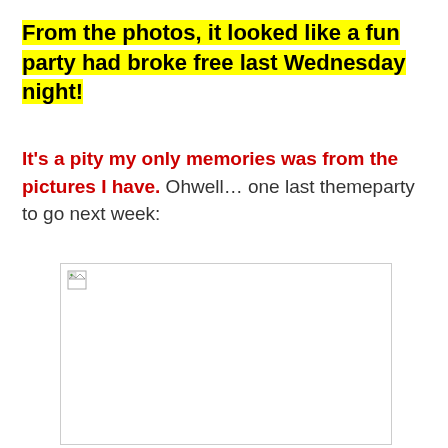From the photos, it looked like a fun party had broke free last Wednesday night!
It's a pity my only memories was from the pictures I have. Ohwell... one last themeparty to go next week:
[Figure (photo): A broken/missing image placeholder — white rectangle with a small broken image icon in the top-left corner and a border]